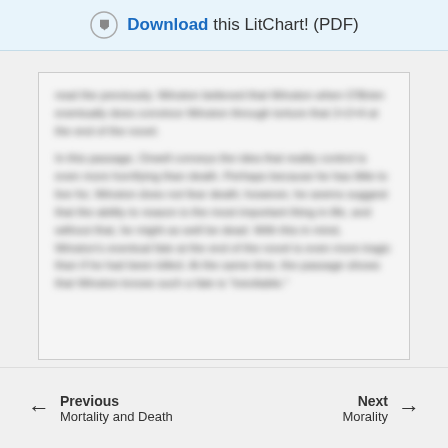Download this LitChart! (PDF)
when O'Brien eventually does convince Winston through torture that 2+2=4 at the end of the novel. In this passage, Orwell conveys the idea that reality control is even more horrifying than death. Perhaps because he has little to live for, Winston does not fear death; however, he seems suggest that the ability to reason is the most important thing in life, and without that, he might as well be dead. With this in mind, Winston's eventual fate at the end of the novel is even more tragic than if he had been killed. At the same time, the passage shows that Winston knows such a fate is "inevitable."
Previous Mortality and Death | Next Morality